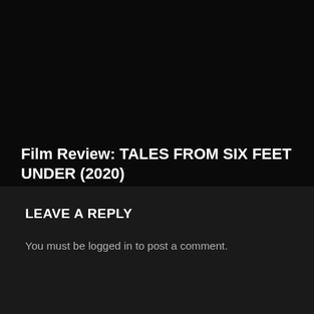[Figure (photo): Dark/black image placeholder at top of page]
Film Review: TALES FROM SIX FEET UNDER (2020)
19th September 2021   ○ 0   ⊙ 2 Mins Read
Read More
LEAVE A REPLY
You must be logged in to post a comment.